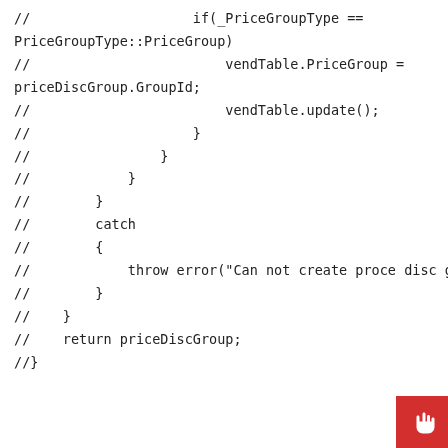//                    if(_PriceGroupType ==
PriceGroupType::PriceGroup)
//                        vendTable.PriceGroup =
priceDiscGroup.GroupId;
//                        vendTable.update();
//                    }
//                }
//            }

//        }
//        catch
//        {
//            throw error("Can not create proce disc group");
//        }
//    }
//    return priceDiscGroup;
//}
[Figure (other): Red button with hand/pointer cursor icon in bottom-right corner]